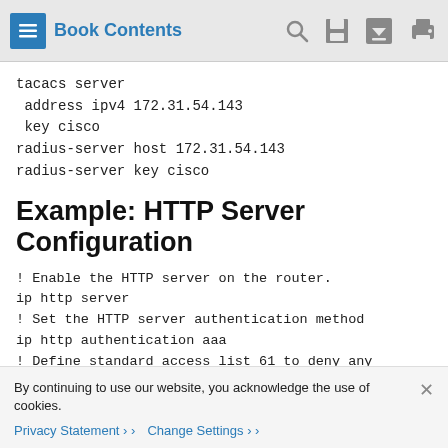Book Contents
tacacs server
 address ipv4 172.31.54.143
 key cisco
radius-server host 172.31.54.143
radius-server key cisco
Example: HTTP Server Configuration
! Enable the HTTP server on the router.
ip http server
! Set the HTTP server authentication method
ip http authentication aaa
! Define standard access list 61 to deny any
access-list 61 deny any
By continuing to use our website, you acknowledge the use of cookies.
Privacy Statement > Change Settings >